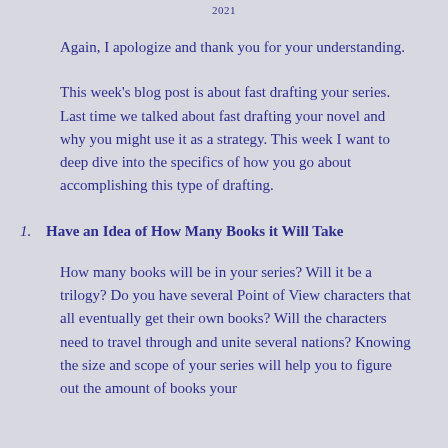2021
Again, I apologize and thank you for your understanding.
This week's blog post is about fast drafting your series. Last time we talked about fast drafting your novel and why you might use it as a strategy. This week I want to deep dive into the specifics of how you go about accomplishing this type of drafting.
1. Have an Idea of How Many Books it Will Take
How many books will be in your series? Will it be a trilogy? Do you have several Point of View characters that all eventually get their own books? Will the characters need to travel through and unite several nations? Knowing the size and scope of your series will help you to figure out the amount of books your